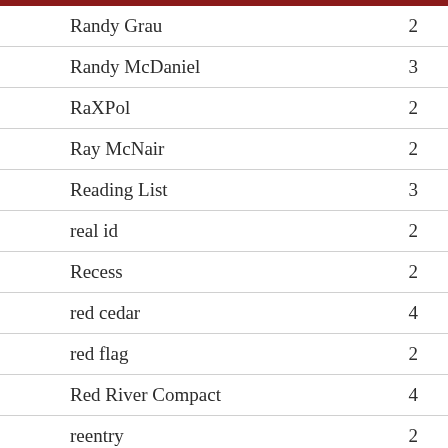| Term | Count |
| --- | --- |
| Randy Grau | 2 |
| Randy McDaniel | 3 |
| RaXPol | 2 |
| Ray McNair | 2 |
| Reading List | 3 |
| real id | 2 |
| Recess | 2 |
| red cedar | 4 |
| red flag | 2 |
| Red River Compact | 4 |
| reentry | 2 |